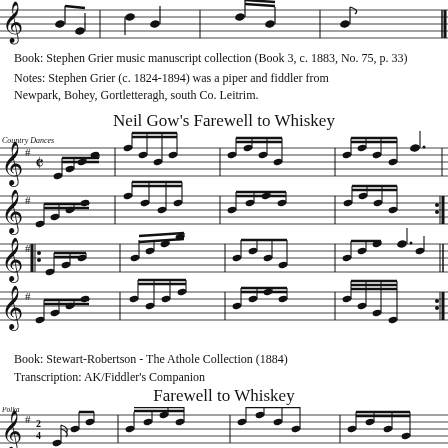[Figure (illustration): Music notation staff showing end of a previous tune]
Book: Stephen Grier music manuscript collection (Book 3, c. 1883, No. 75, p. 33)
Notes: Stephen Grier (c. 1824-1894) was a piper and fiddler from Newpark, Bohey, Gortletteragh, south Co. Leitrim.
Neil Gow's Farewell to Whiskey
[Figure (illustration): Music notation for Neil Gow's Farewell to Whiskey, Country Dances, 4 staves with treble clef, one sharp key signature, cut time]
Book: Stewart-Robertson - The Athole Collection (1884)
Transcription: AK/Fiddler's Companion
Farewell to Whiskey
[Figure (illustration): Music notation for Farewell to Whiskey, Polka, beginning of first staff with treble clef, one sharp, 2/4 time]